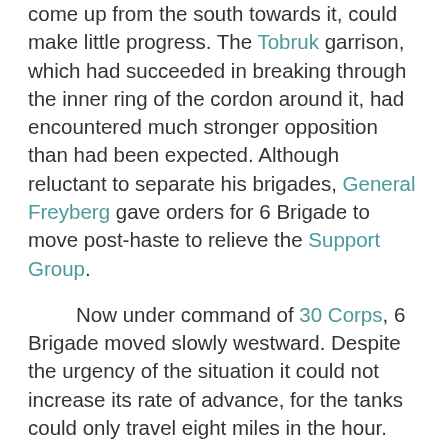come up from the south towards it, could make little progress. The Tobruk garrison, which had succeeded in breaking through the inner ring of the cordon around it, had encountered much stronger opposition than had been expected. Although reluctant to separate his brigades, General Freyberg gave orders for 6 Brigade to move post-haste to relieve the Support Group.
Now under command of 30 Corps, 6 Brigade moved slowly westward. Despite the urgency of the situation it could not increase its rate of advance, for the tanks could only travel eight miles in the hour. After dusk progress was further delayed while the columns negotiated a minefield. At 8.15 p.m. the brigade halted for a hot meal and a rest. This was a welcome